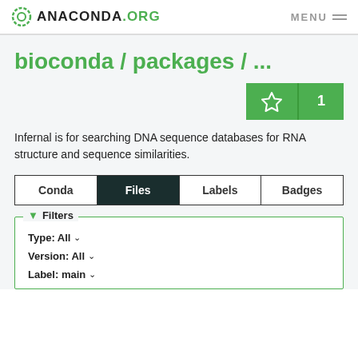ANACONDA.ORG  MENU
bioconda / packages / ...
Infernal is for searching DNA sequence databases for RNA structure and sequence similarities.
| Conda | Files | Labels | Badges |
| --- | --- | --- | --- |
Filters
Type: All
Version: All
Label: main